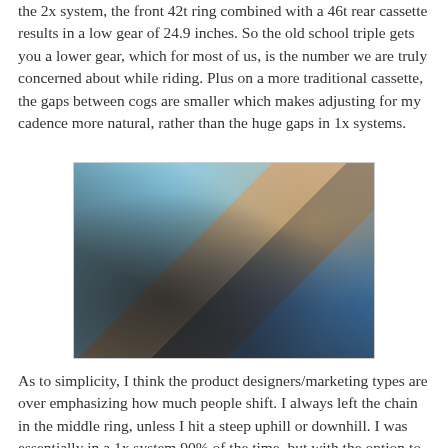the 2x system, the front 42t ring combined with a 46t rear cassette results in a low gear of 24.9 inches. So the old school triple gets you a lower gear, which for most of us, is the number we are truly concerned about while riding. Plus on a more traditional cassette, the gaps between cogs are smaller which makes adjusting for my cadence more natural, rather than the huge gaps in 1x systems.
[Figure (photo): Close-up photo of a bicycle drivetrain (chainring/sprocket) from a low angle against a blue sky, with motion blur suggesting movement and a rider partially visible above]
As to simplicity, I think the product designers/marketing types are over emphasizing how much people shift. I always left the chain in the middle ring, unless I hit a steep uphill or downhill. I was essentially in a 1x system 90% of the time, but with the option to get a bail out at any time. A properly set